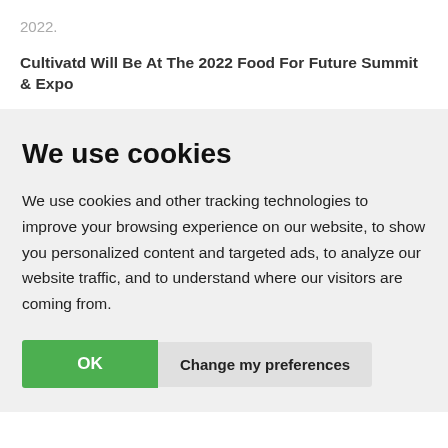2022.
Cultivatd Will Be At The 2022 Food For Future Summit & Expo
We use cookies
We use cookies and other tracking technologies to improve your browsing experience on our website, to show you personalized content and targeted ads, to analyze our website traffic, and to understand where our visitors are coming from.
OK   Change my preferences